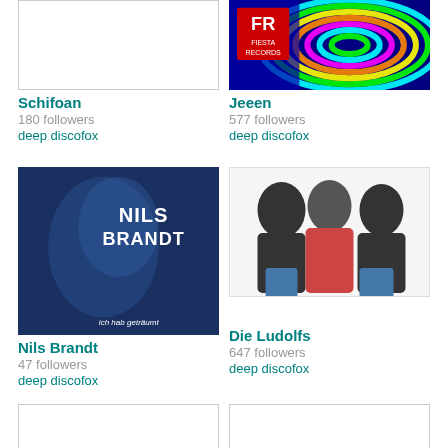[Figure (photo): Schifoan artist placeholder image (white/blank)]
[Figure (photo): Jeeen artist image - Fiesta Records colorful swirl logo]
Schifoan
180 followers
deep discofox
Jeeen
577 followers
deep discofox
[Figure (photo): Nils Brandt album cover - dark blue background with artist face and text 'NILS BRANDT ich hab geträumt']
[Figure (photo): Die Ludolfs - photo of three heavy-set men posing on white background]
Nils Brandt
47 followers
deep discofox
Die Ludolfs
647 followers
deep discofox
[Figure (photo): Bottom left artist placeholder image (white/blank)]
[Figure (photo): Bottom right artist placeholder image (white/blank)]